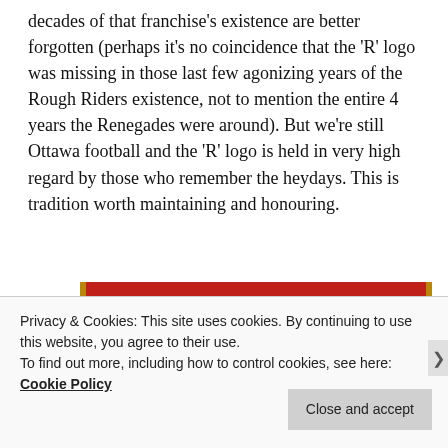decades of that franchise's existence are better forgotten (perhaps it's no coincidence that the 'R' logo was missing in those last few agonizing years of the Rough Riders existence, not to mention the entire 4 years the Renegades were around). But we're still Ottawa football and the 'R' logo is held in very high regard by those who remember the heydays. This is tradition worth maintaining and honouring.
[Figure (other): Red advertisement banner with text 'everyone else's.' and a 'Start reading' button on dark background]
Privacy & Cookies: This site uses cookies. By continuing to use this website, you agree to their use.
To find out more, including how to control cookies, see here: Cookie Policy